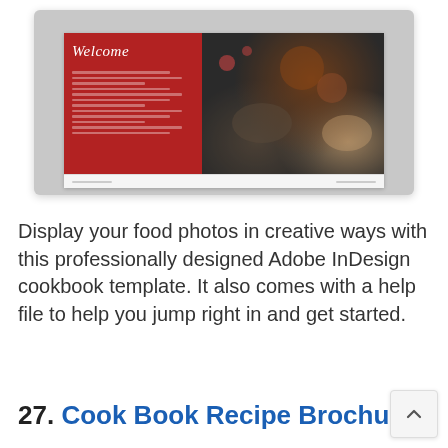[Figure (photo): Screenshot of an open cookbook/brochure design mockup showing a red left page with 'Welcome' in cursive and a dark right page with food photography (pizza, rice, samosa), displayed on a gray background.]
Display your food photos in creative ways with this professionally designed Adobe InDesign cookbook template. It also comes with a help file to help you jump right in and get started.
27. Cook Book Recipe Brochure